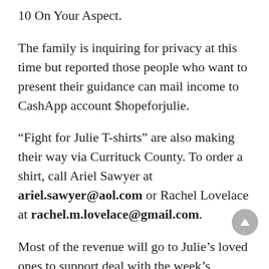10 On Your Aspect.
The family is inquiring for privacy at this time but reported those people who want to present their guidance can mail income to CashApp account $hopeforjulie.
“Fight for Julie T-shirts” are also making their way via Currituck County. To order a shirt, call Ariel Sawyer at ariel.sawyer@aol.com or Rachel Lovelace at rachel.m.lovelace@gmail.com.
Most of the revenue will go to Julie’s loved ones to support deal with the week’s lengthy hospital keep and funeral costs.
10 On Your Side arrived at out to the North Carolina Division of Transportation to see if they were being